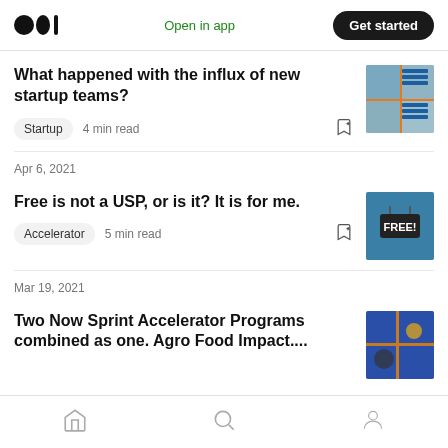Medium logo | Open in app | Get started
What happened with the influx of new startup teams?
Startup  4 min read
Apr 6, 2021
Free is not a USP, or is it? It is for me.
Accelerator  5 min read
Mar 19, 2021
Two Now Sprint Accelerator Programs combined as one. Agro Food Impact....
Home | Search | Profile